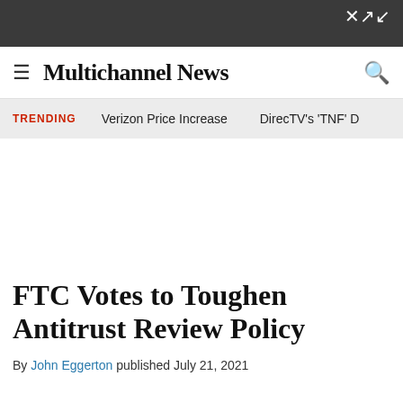Multichannel News
TRENDING   Verizon Price Increase   DirecTV's 'TNF' D
FTC Votes to Toughen Antitrust Review Policy
By John Eggerton published July 21, 2021